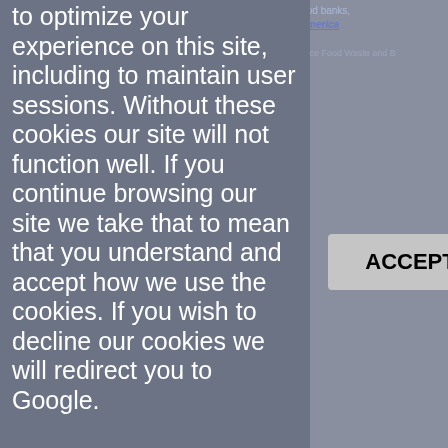party cookies 60,000 pantries and feeding programs. [Image Credit: © Feeding America MealConnect ¶ Feeding America Launches MealConnect Technology Platform to Help Reduce Food Waste and B use, Feeding America, April 20, 2017. © Feeding America
to optimize your experience on this site, including to maintain user sessions. Without these cookies our site will not function well. If you continue browsing our site we take that to mean that you understand and accept how we use the cookies. If you wish to decline our cookies we will redirect you to Google.
[Figure (screenshot): Cookie consent overlay with ACCEPT and Reject buttons over a webpage about Feeding America MealConnect]